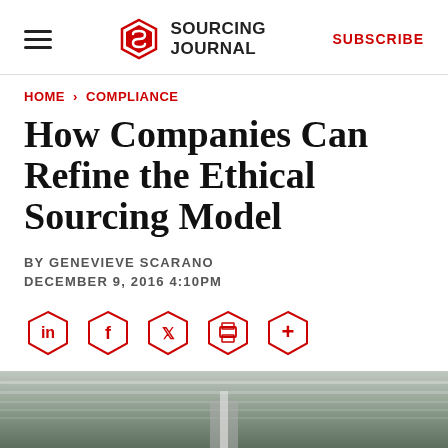SOURCING JOURNAL | SUBSCRIBE
HOME > COMPLIANCE
How Companies Can Refine the Ethical Sourcing Model
BY GENEVIEVE SCARANO
DECEMBER 9, 2016 4:10PM
[Figure (other): Social sharing icons: LinkedIn, Facebook, Twitter, Print, More — hexagonal red outline buttons]
[Figure (photo): Partial photo of an industrial or warehouse facility interior showing overhead lighting and steel structure]